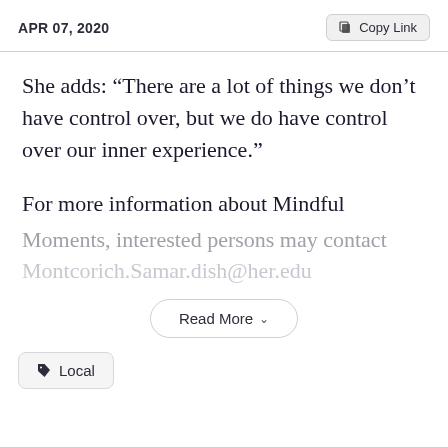APR 07, 2020
She adds: “There are a lot of things we don’t have control over, but we do have control over our inner experience.”
For more information about Mindful Moments, interested persons may contact Montcorich.Samar.dish@her.edu
Read More
Local